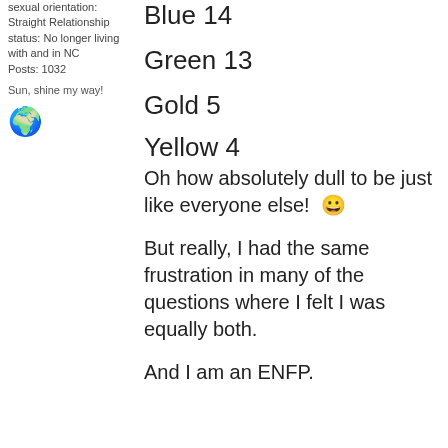sexual orientation: Straight Relationship status: No longer living with and in NC Posts: 1032
Sun, shine my way!
Blue 14
Green 13
Gold 5
[Figure (illustration): Globe emoji icon]
Yellow 4
Oh how absolutely dull to be just like everyone else! 😀
But really, I had the same frustration in many of the questions where I felt I was equally both.
And I am an ENFP.